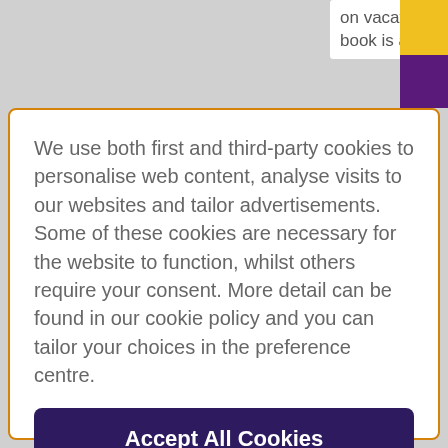on vacation.The 7th book is a bit more
We use both first and third-party cookies to personalise web content, analyse visits to our websites and tailor advertisements. Some of these cookies are necessary for the website to function, whilst others require your consent. More detail can be found in our cookie policy and you can tailor your choices in the preference centre.
Accept All Cookies
Cookies Settings